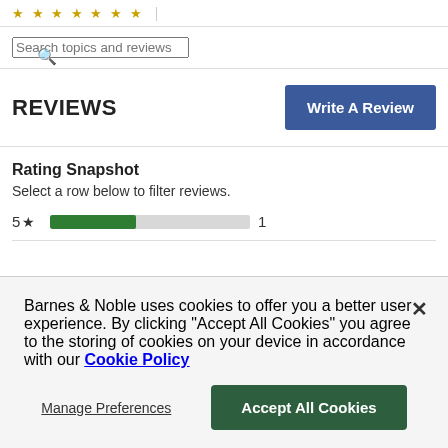[Figure (screenshot): Partial star rating row at top of page]
Search topics and reviews
REVIEWS
Write A Review
Rating Snapshot
Select a row below to filter reviews.
[Figure (bar-chart): 5 star rating bar showing 1 review]
Barnes & Noble uses cookies to offer you a better user experience. By clicking "Accept All Cookies" you agree to the storing of cookies on your device in accordance with our Cookie Policy
Manage Preferences
Accept All Cookies